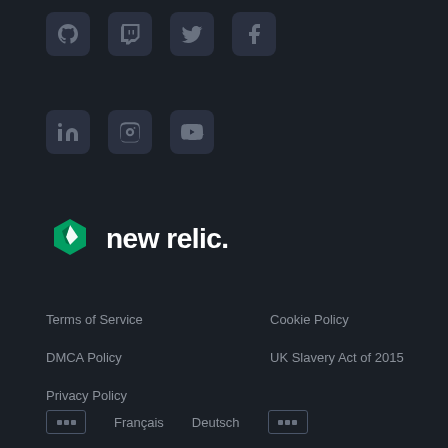[Figure (other): Social media icons row 1: GitHub, Twitch, Twitter, Facebook]
[Figure (other): Social media icons row 2: LinkedIn, Instagram, YouTube]
[Figure (logo): New Relic logo with green hexagon icon and white text 'new relic.']
Terms of Service
Cookie Policy
DMCA Policy
UK Slavery Act of 2015
Privacy Policy
xxx   Français   Deutsch   xxx